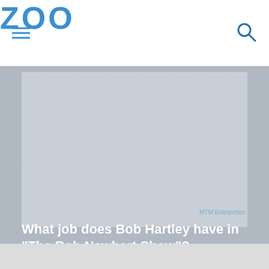ZOO
[Figure (photo): Grey placeholder image area for The Bob Newhart Show]
MTM Enterprises
What job does Bob Hartley have in "The Bob Newhart Show"?
Restaurant Manager
Owner of a B&B